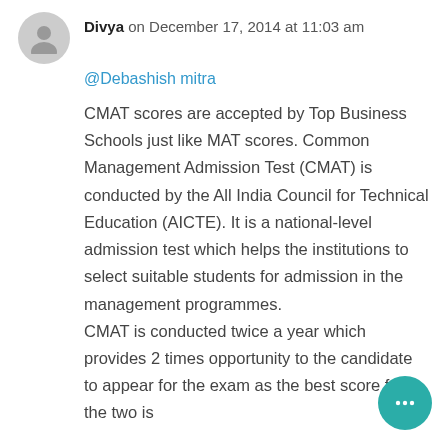Divya on December 17, 2014 at 11:03 am
@Debashish mitra
CMAT scores are accepted by Top Business Schools just like MAT scores. Common Management Admission Test (CMAT) is conducted by the All India Council for Technical Education (AICTE). It is a national-level admission test which helps the institutions to select suitable students for admission in the management programmes. CMAT is conducted twice a year which provides 2 times opportunity to the candidate to appear for the exam as the best score from the two is